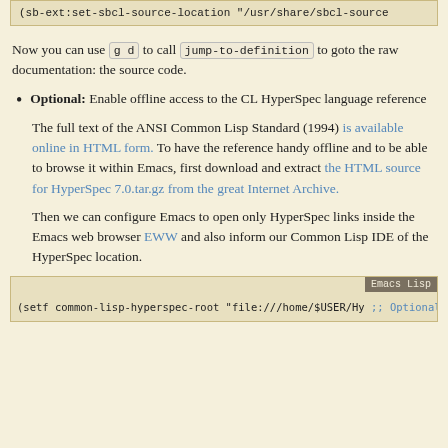(sb-ext:set-sbcl-source-location "/usr/share/sbcl-source
Now you can use g d to call jump-to-definition to goto the raw documentation: the source code.
Optional: Enable offline access to the CL HyperSpec language reference
The full text of the ANSI Common Lisp Standard (1994) is available online in HTML form. To have the reference handy offline and to be able to browse it within Emacs, first download and extract the HTML source for HyperSpec 7.0.tar.gz from the great Internet Archive.
Then we can configure Emacs to open only HyperSpec links inside the Emacs web browser EWW and also inform our Common Lisp IDE of the HyperSpec location.
(setf common-lisp-hyperspec-root "file:///home/$USER/Hy
;; Optionally, execute the HYPERSPEC-LOOKUP function wit
;; changes to view HyperSpec links exclusively in EWW.
(advice-add 'hyperspec-lookup